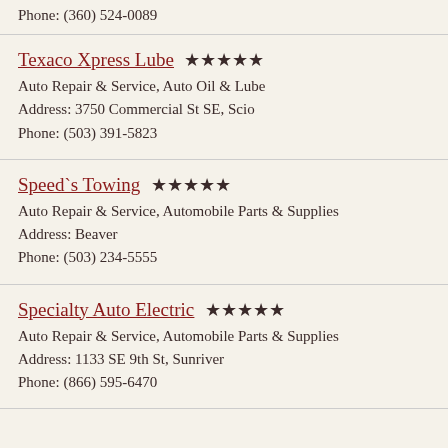Phone: (360) 524-0089
Texaco Xpress Lube ★★★★★
Auto Repair & Service, Auto Oil & Lube
Address: 3750 Commercial St SE, Scio
Phone: (503) 391-5823
Speed`s Towing ★★★★★
Auto Repair & Service, Automobile Parts & Supplies
Address: Beaver
Phone: (503) 234-5555
Specialty Auto Electric ★★★★★
Auto Repair & Service, Automobile Parts & Supplies
Address: 1133 SE 9th St, Sunriver
Phone: (866) 595-6470